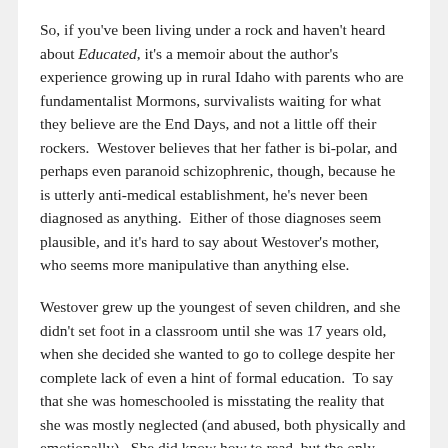So, if you've been living under a rock and haven't heard about Educated, it's a memoir about the author's experience growing up in rural Idaho with parents who are fundamentalist Mormons, survivalists waiting for what they believe are the End Days, and not a little off their rockers. Westover believes that her father is bi-polar, and perhaps even paranoid schizophrenic, though, because he is utterly anti-medical establishment, he's never been diagnosed as anything. Either of those diagnoses seem plausible, and it's hard to say about Westover's mother, who seems more manipulative than anything else.
Westover grew up the youngest of seven children, and she didn't set foot in a classroom until she was 17 years old, when she decided she wanted to go to college despite her complete lack of even a hint of formal education. To say that she was homeschooled is misstating the reality that she was mostly neglected (and abused, both physically and emotionally). She did know how to read, but the only books she was exposed to growing up were the bible, the Book of Mormon, and an old history book her father had in the house that described